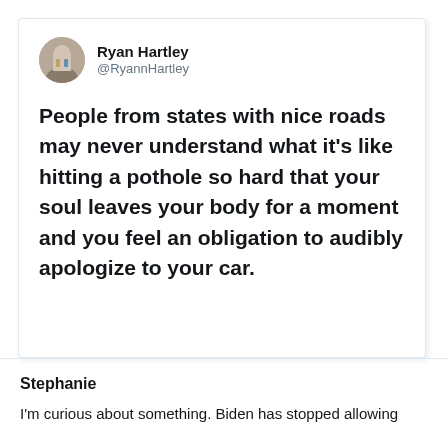[Figure (screenshot): Twitter/social media post by Ryan Hartley (@RyannHartley) with profile photo showing a man in a suit and tie]
People from states with nice roads may never understand what it's like hitting a pothole so hard that your soul leaves your body for a moment and you feel an obligation to audibly apologize to your car.
Stephanie
I'm curious about something. Biden has stopped allowing